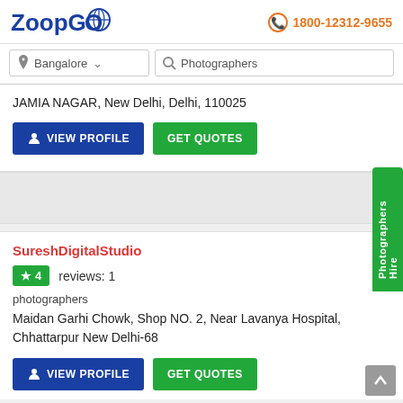ZoopGo | 1800-12312-9655
Bangalore | Photographers
JAMIA NAGAR, New Delhi, Delhi, 110025
VIEW PROFILE | GET QUOTES
SureshDigitalStudio
4 reviews: 1
photographers
Maidan Garhi Chowk, Shop NO. 2, Near Lavanya Hospital, Chhattarpur New Delhi-68
VIEW PROFILE | GET QUOTES